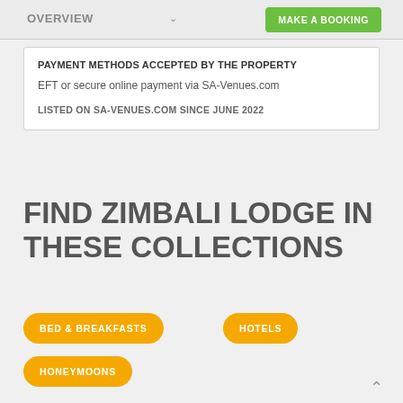OVERVIEW   MAKE A BOOKING
PAYMENT METHODS ACCEPTED BY THE PROPERTY
EFT or secure online payment via SA-Venues.com
LISTED ON SA-VENUES.COM SINCE JUNE 2022
FIND ZIMBALI LODGE IN THESE COLLECTIONS
BED & BREAKFASTS
HOTELS
HONEYMOONS